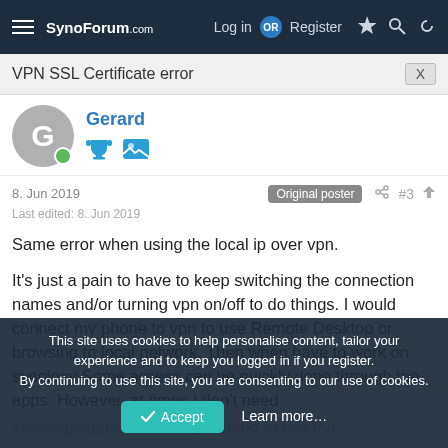SynoForum.com  Log in OR Register
VPN SSL Certificate error
Gerard
8. Jun 2019   Original poster  #3
Last edited: 8. Jun 2019
Same error when using the local ip over vpn.

It's just a pain to have to keep switching the connection names and/or turning vpn on/off to do things. I would connect my phone to vpn to use Remote Desktop or browsing to local network. Then when have to work on synology Some access can be quickly done through the apps. However, at times I don't need synology apps, in which you need to use the quickconnect (or ddns).
This site uses cookies to help personalise content, tailor your experience and to keep you logged in if you register.
By continuing to use this site, you are consenting to our use of cookies.